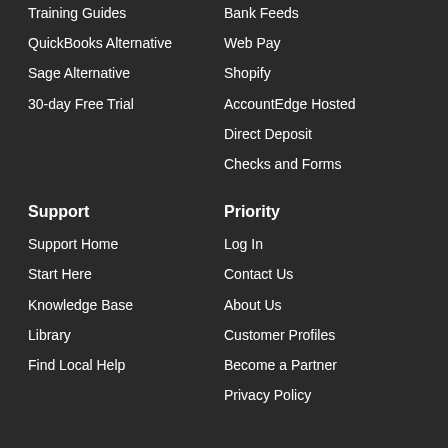Training Guides
QuickBooks Alternative
Sage Alternative
30-day Free Trial
Bank Feeds
Web Pay
Shopify
AccountEdge Hosted
Direct Deposit
Checks and Forms
Support
Support Home
Start Here
Knowledge Base
Library
Find Local Help
Priority
Log In
Contact Us
About Us
Customer Profiles
Become a Partner
Privacy Policy